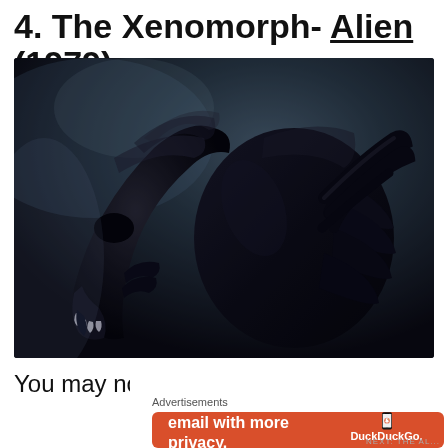4. The Xenomorph- Alien (1979)
[Figure (photo): Close-up profile photograph of the Xenomorph creature from the Alien franchise, showing its distinctive elongated dark biomechanical head, inner jaw, and ribbed body against a dark atmospheric background.]
You may not see the blob coming, but
Advertisements
[Figure (screenshot): DuckDuckGo advertisement banner on orange/red background. Text reads: Search, browse, and email with more privacy. All in One Free App. Shows a smartphone with the DuckDuckGo logo and the text DuckDuckGo.]